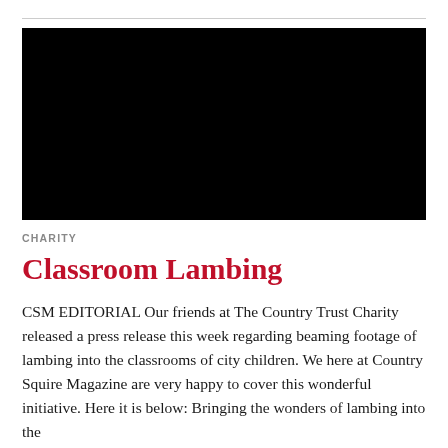[Figure (photo): A solid black rectangular image placeholder, likely a video still or photograph related to classroom lambing.]
CHARITY
Classroom Lambing
CSM EDITORIAL Our friends at The Country Trust Charity released a press release this week regarding beaming footage of lambing into the classrooms of city children. We here at Country Squire Magazine are very happy to cover this wonderful initiative. Here it is below: Bringing the wonders of lambing into the